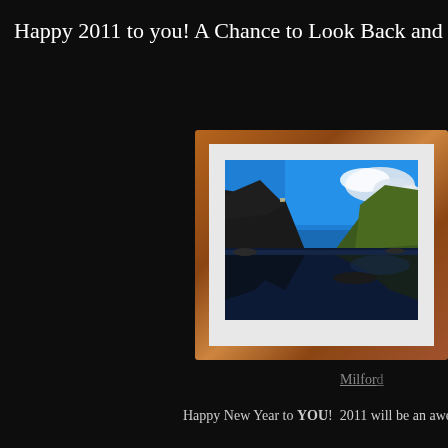Happy 2011 to you! A Chance to Look Back and Forth...
[Figure (photo): A framed photograph showing a mountain landscape with reflections in water, blue sky with clouds, set in a wooden frame with white mat]
Milford
Happy New Year to YOU!  2011 will be an awesom